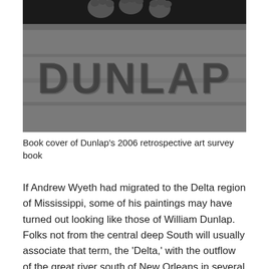[Figure (photo): Book cover showing the word 'DUNLAP' engraved or carved into a stone surface, with what appears to be animal paws (possibly a dog) visible at the top edge of the image. The image is in grayscale/monochrome.]
Book cover of Dunlap's 2006 retrospective art survey book
If Andrew Wyeth had migrated to the Delta region of Mississippi, some of his paintings may have turned out looking like those of William Dunlap. Folks not from the central deep South will usually associate that term, the 'Delta,' with the outflow of the great river south of New Orleans in several branched outlets. Yet, the term, the 'Delta,' in the mid and deep South refers to the region abutting the Mississippi River south of Memphis, bordered by Arkansas and Mississippi. Historically, and until the